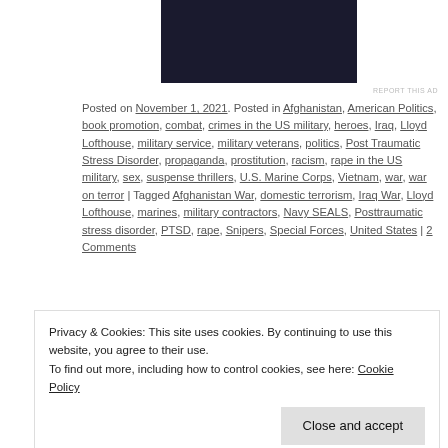[Figure (photo): Dark/black image block at top center of page]
REPORT THIS AD
Posted on November 1, 2021. Posted in Afghanistan, American Politics, book promotion, combat, crimes in the US military, heroes, Iraq, Lloyd Lofthouse, military service, military veterans, politics, Post Traumatic Stress Disorder, propaganda, prostitution, racism, rape in the US military, sex, suspense thrillers, U.S. Marine Corps, Vietnam, war, war on terror | Tagged Afghanistan War, domestic terrorism, Iraq War, Lloyd Lofthouse, marines, military contractors, Navy SEALS, Posttraumatic stress disorder, PTSD, rape, Snipers, Special Forces, United States | 2 Comments
Mosquitoes Before and After the
Privacy & Cookies: This site uses cookies. By continuing to use this website, you agree to their use.
To find out more, including how to control cookies, see here: Cookie Policy
Close and accept
and Ear to watch over an infantry company's